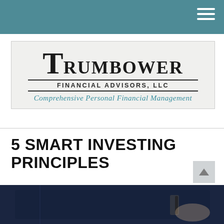Trumbower Financial Advisors, LLC — navigation header
[Figure (logo): Trumbower Financial Advisors, LLC logo with tagline 'Comprehensive Personal Financial Management']
5 SMART INVESTING PRINCIPLES
[Figure (photo): Close-up photo of a pen or stylus on a dark surface, partially visible at the bottom of the page]